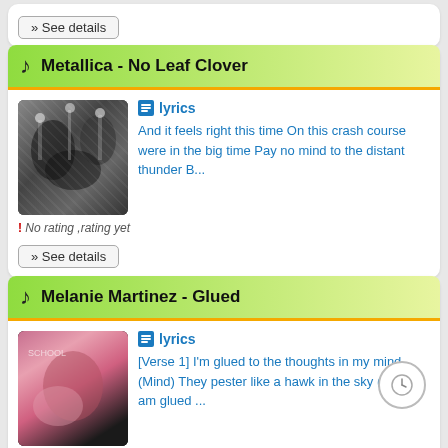» See details
Metallica - No Leaf Clover
lyrics
And it feels right this time On this crash course were in the big time Pay no mind to the distant thunder B...
! No rating ,rating yet
» See details
Melanie Martinez - Glued
lyrics
[Verse 1] I'm glued to the thoughts in my mind (Mind) They pester like a hawk in the sky (Haha) I am glued ...
! No rating ,rating yet
» See details